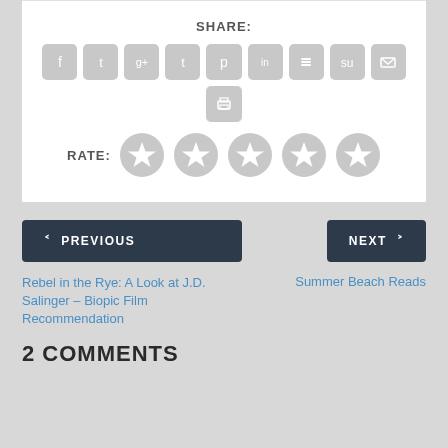SHARE:
[Figure (infographic): Social media share buttons: Facebook, Twitter, Google+, Tumblr, Pinterest, LinkedIn, Buffer, StumbleUpon, Email, and a Print button below]
RATE: (5 star rating icons)
< PREVIOUS
NEXT >
Rebel in the Rye: A Look at J.D. Salinger – Biopic Film Recommendation
Summer Beach Reads
2 COMMENTS